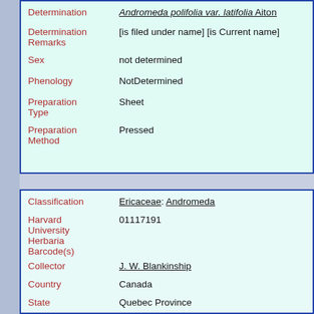| Field | Value |
| --- | --- |
| Determination | Andromeda polifolia var. latifolia Aiton |
| Determination Remarks | [is filed under name] [is Current name] |
| Sex | not determined |
| Phenology | NotDetermined |
| Preparation Type | Sheet |
| Preparation Method | Pressed |
| Field | Value |
| --- | --- |
| Classification | Ericaceae: Andromeda |
| Harvard University Herbaria Barcode(s) | 01117191 |
| Collector | J. W. Blankinship |
| Country | Canada |
| State | Quebec Province |
| Geography | North America: North America (CA, US, MX) (Region): Quebec Province |